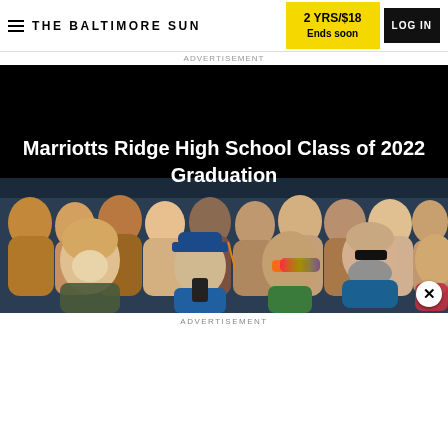THE BALTIMORE SUN | 2 YRS/$18 Ends soon | LOG IN
Marriotts Ridge High School Class of 2022 Graduation
[Figure (photo): Crowd of people at a graduation ceremony; in the foreground a graduate wearing a blue cap is visible among smiling spectators]
ADVERTISEMENT